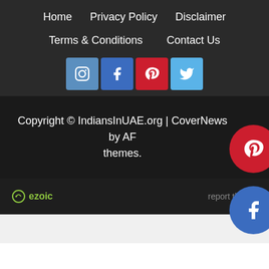Home  Privacy Policy  Disclaimer  Terms & Conditions  Contact Us
[Figure (other): Social media icons: Instagram, Facebook, Pinterest, Twitter buttons and two floating circular social icons (Pinterest, Facebook) on the right side]
Copyright © IndiansInUAE.org | CoverNews by AF themes.
[Figure (logo): Ezoic logo with circular icon on the left and 'report this ad' text link on the right]
report this ad